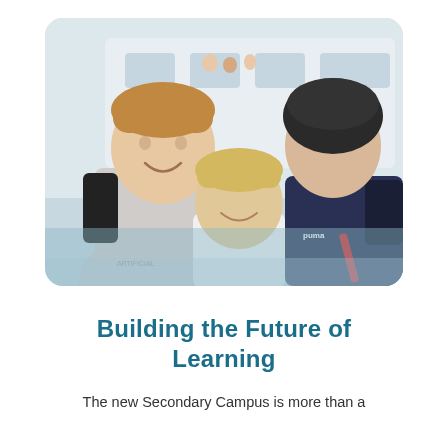[Figure (photo): Three smiling boys posing together outdoors near a bus. The boy on the left wears a grey hoodie with a backpack, the middle boy wears a white shirt and leans forward, and the boy on the right wears a dark navy Puma top and a dark cycling helmet. A light blue semi-transparent overlay appears at the bottom of the photo.]
Building the Future of Learning
The new Secondary Campus is more than a